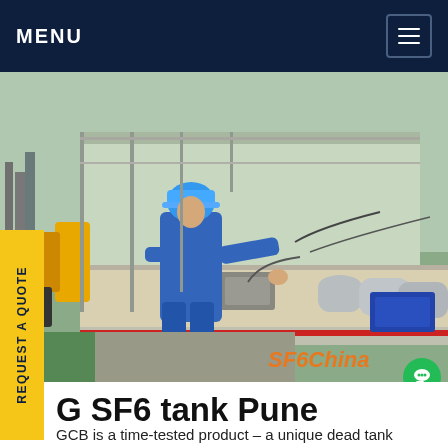MENU
[Figure (photo): A worker in blue coveralls and blue hard hat operates equipment on the back of a flatbed truck at an electrical substation. Gas cylinders and equipment are visible on the truck bed. The SF6China watermark appears in orange in the lower right of the image.]
G SF6 tank Pune
GCB is a time-tested product - a unique dead tank design which offers a highly safe operation. The product is suitable for installation at high altitude. The SF6 GCB is best suitable for low inductive and capacitive currents. It employs continuous